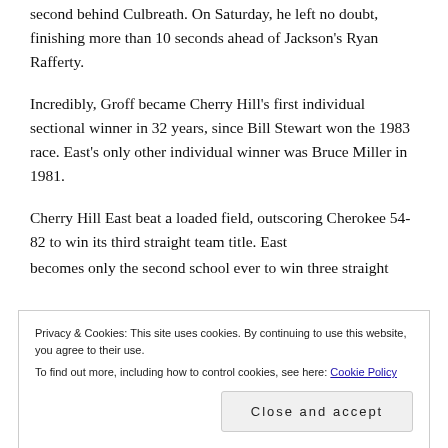second behind Culbreath. On Saturday, he left no doubt, finishing more than 10 seconds ahead of Jackson's Ryan Rafferty.
Incredibly, Groff became Cherry Hill's first individual sectional winner in 32 years, since Bill Stewart won the 1983 race. East's only other individual winner was Bruce Miller in 1981.
Cherry Hill East beat a loaded field, outscoring Cherokee 54-82 to win its third straight team title. East becomes only the second school ever to win three straight
Privacy & Cookies: This site uses cookies. By continuing to use this website, you agree to their use.
To find out more, including how to control cookies, see here: Cookie Policy
Close and accept